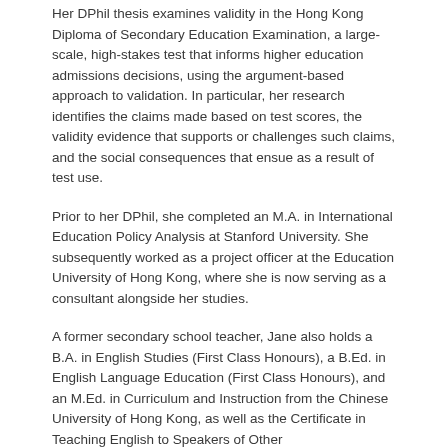Her DPhil thesis examines validity in the Hong Kong Diploma of Secondary Education Examination, a large-scale, high-stakes test that informs higher education admissions decisions, using the argument-based approach to validation. In particular, her research identifies the claims made based on test scores, the validity evidence that supports or challenges such claims, and the social consequences that ensue as a result of test use.
Prior to her DPhil, she completed an M.A. in International Education Policy Analysis at Stanford University. She subsequently worked as a project officer at the Education University of Hong Kong, where she is now serving as a consultant alongside her studies.
A former secondary school teacher, Jane also holds a B.A. in English Studies (First Class Honours), a B.Ed. in English Language Education (First Class Honours), and an M.Ed. in Curriculum and Instruction from the Chinese University of Hong Kong, as well as the Certificate in Teaching English to Speakers of Other